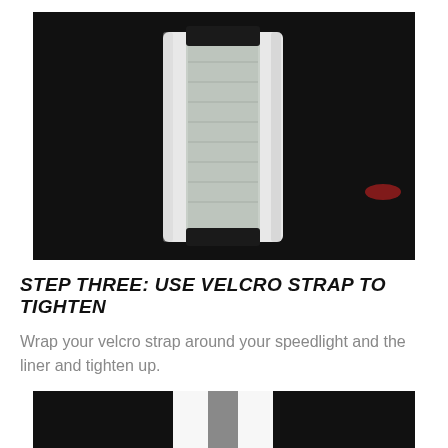[Figure (photo): Close-up photo of a white velcro liner/strap wrapped around a cylindrical speedlight flash, shown against a black background. The velcro material is white with a textured mesh pattern and is partially open, revealing the silver reflective interior.]
STEP THREE: USE VELCRO STRAP TO TIGHTEN
Wrap your velcro strap around your speedlight and the liner and tighten up.
[Figure (photo): Partial bottom photo showing a speedlight with white velcro strap tightened around it, shown against a black background.]